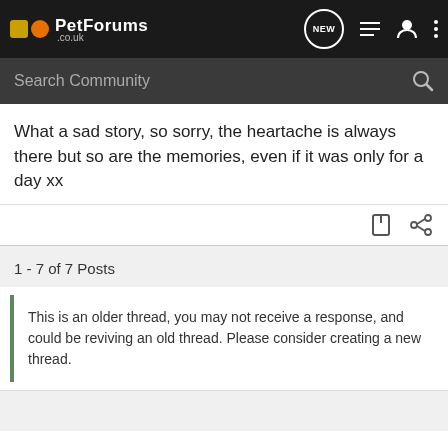PetForums .co.uk
What a sad story, so sorry, the heartache is always there but so are the memories, even if it was only for a day xx
1 - 7 of 7 Posts
This is an older thread, you may not receive a response, and could be reviving an old thread. Please consider creating a new thread.